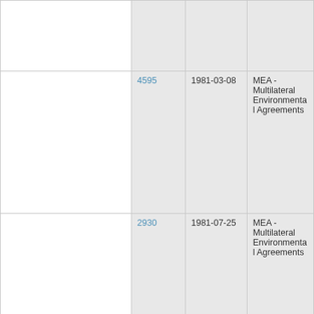|  | ID | Date | Type |
| --- | --- | --- | --- |
|  |  |  |  |
|  | 4595 | 1981-03-08 | MEA - Multilateral Environmental Agreements |
|  | 2930 | 1981-07-25 | MEA - Multilateral Environmental Agreements |
|  | 2940 | 1982-07-24 | MEA - |